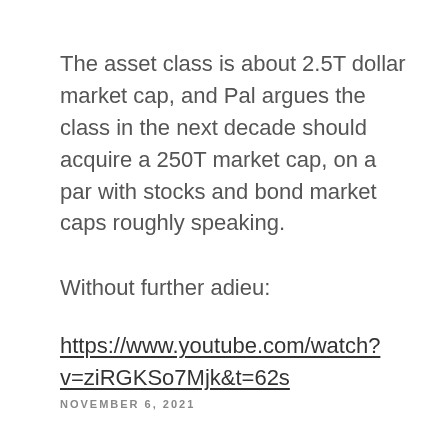The asset class is about 2.5T dollar market cap, and Pal argues the class in the next decade should acquire a 250T market cap, on a par with stocks and bond market caps roughly speaking.
Without further adieu:
https://www.youtube.com/watch?v=ziRGKSo7Mjk&t=62s
NOVEMBER 6, 2021